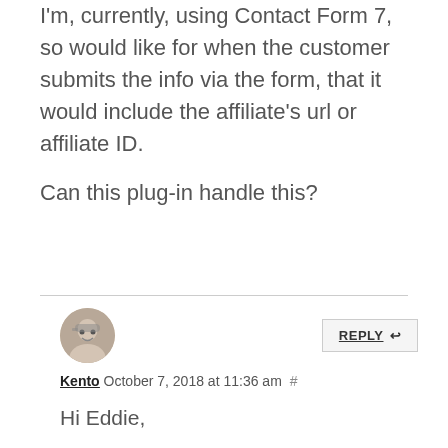I'm, currently, using Contact Form 7, so would like for when the customer submits the info via the form, that it would include the affiliate's url or affiliate ID.

Can this plug-in handle this?
Kento   October 7, 2018 at 11:36 am #

Hi Eddie,

It sounds like you should be able to handle this with our Affiliates Enterprise and its Contact Form 7